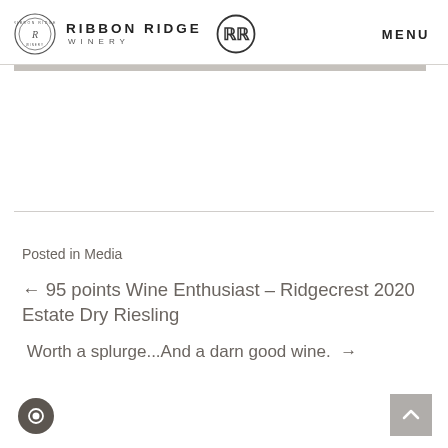RIBBON RIDGE WINERY — MENU
Posted in Media
← 95 points Wine Enthusiast – Ridgecrest 2020 Estate Dry Riesling
Worth a splurge...And a darn good wine.  →